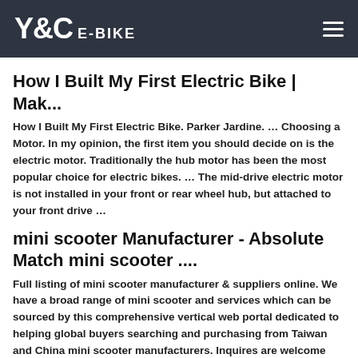Y&C E-BIKE
How I Built My First Electric Bike | Mak...
How I Built My First Electric Bike. Parker Jardine. … Choosing a Motor. In my opinion, the first item you should decide on is the electric motor. Traditionally the hub motor has been the most popular choice for electric bikes. … The mid-drive electric motor is not installed in your front or rear wheel hub, but attached to your front drive …
mini scooter Manufacturer - Absolute Match mini scooter ....
Full listing of mini scooter manufacturer & suppliers online. We have a broad range of mini scooter and services which can be sourced by this comprehensive vertical web portal dedicated to helping global buyers searching and purchasing from Taiwan and China mini scooter manufacturers. Inquires are welcome from worldwide agents, importers, chain stores, distributors